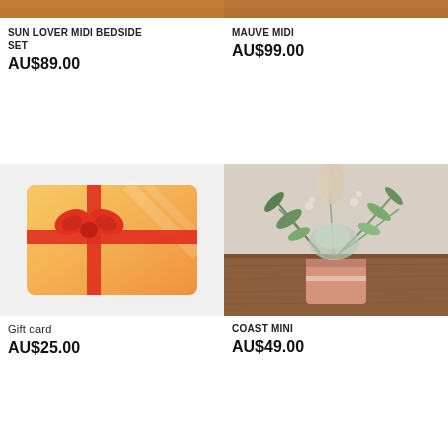[Figure (photo): Top partial image strip - warm brown/orange product photo (Sun Lover Midi Bedside Set)]
SUN LOVER MIDI BEDSIDE SET
AU$89.00
[Figure (photo): Top partial image strip - warm brown/orange product photo (Mauve Midi)]
MAUVE MIDI
AU$99.00
[Figure (illustration): Gift card illustration - orange/yellow card with red ribbon and bow]
Gift card
AU$25.00
[Figure (photo): Floral arrangement in a small pink/rose gold pot with dried flowers and greenery on a wooden surface]
COAST MINI
AU$49.00